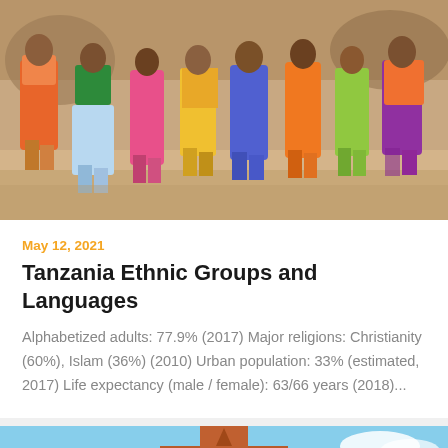[Figure (photo): Group of people in colorful traditional clothing walking on a sandy path in Tanzania]
May 12, 2021
Tanzania Ethnic Groups and Languages
Alphabetized adults: 77.9% (2017) Major religions: Christianity (60%), Islam (36%) (2010) Urban population: 33% (estimated, 2017) Life expectancy (male / female): 63/66 years (2018)...
[Figure (photo): Red brick church or building with pointed spire against a blue sky]